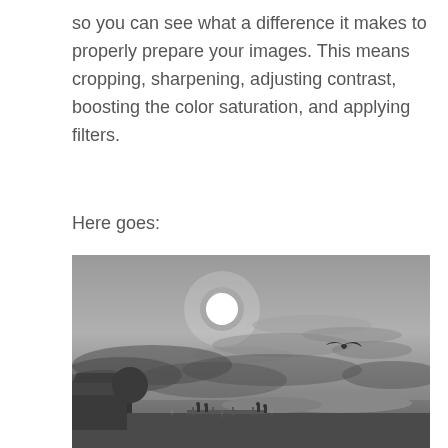so you can see what a difference it makes to properly prepare your images. This means cropping, sharpening, adjusting contrast, boosting the color saturation, and applying filters.
Here goes:
[Figure (photo): A grayscale outdoor photograph showing a cloudy sky with a bright white sun visible through the clouds. A bird (seagull) is flying in the right portion of the sky. In the lower portion, there is a waterfront scene with a building and trees on the left, a dock/pier with people, and a body of water with hills in the background. The overall image is desaturated and low-contrast.]